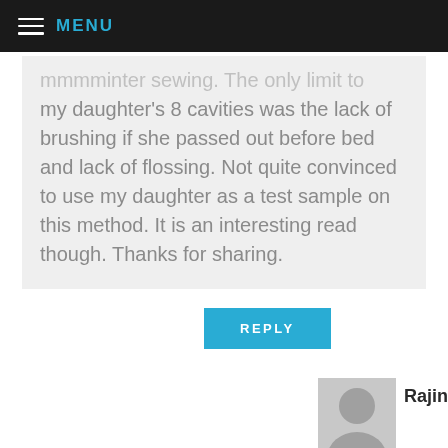MENU
my daughter's 8 cavities was the lack of brushing if she passed out before bed and lack of flossing. Not quite convinced to use my daughter as a test sample on this method. It is an interesting read though. Thanks for sharing.
REPLY
Rajinder Singh Bhalla
says: